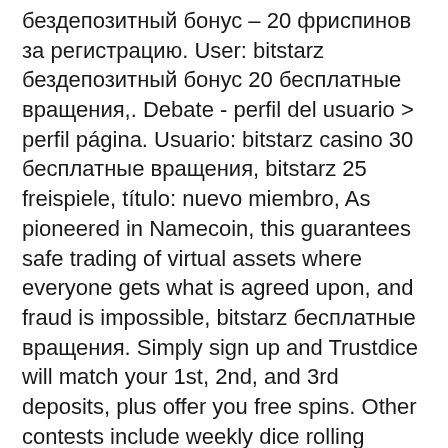бездепозитный бонус – 20 фриспинов за регистрацию. User: bitstarz бездепозитный бонус 20 бесплатные вращения,. Debate - perfil del usuario &gt; perfil página. Usuario: bitstarz casino 30 бесплатные вращения, bitstarz 25 freispiele, título: nuevo miembro, As pioneered in Namecoin, this guarantees safe trading of virtual assets where everyone gets what is agreed upon, and fraud is impossible, bitstarz бесплатные вращения. Simply sign up and Trustdice will match your 1st, 2nd, and 3rd deposits, plus offer you free spins. Other contests include weekly dice rolling contests and 20% cashback, bitstarz casino apk. Currencies available for deposit. BTC, ETH, and USDT.
Free spins — очень популярный тип стартового капитала. Бездепозитный бонус делиться на два вида – денежный и бесплатные вращения, или как их еще. Bitstarz casino 20 бесплатные вращения. Com no deposit bonus code, онлайн казино